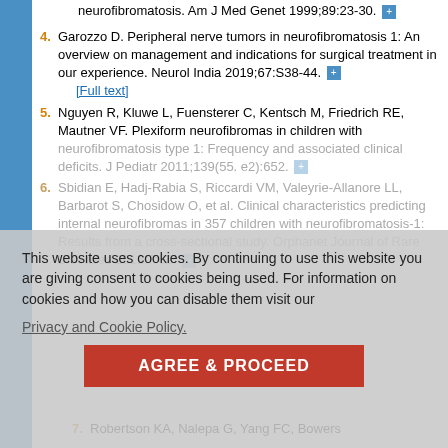[continuation] neurofibromatosis. Am J Med Genet 1999;89:23-30.
4. Garozzo D. Peripheral nerve tumors in neurofibromatosis 1: An overview on management and indications for surgical treatment in our experience. Neurol India 2019;67:S38-44. [Full text]
5. Nguyen R, Kluwe L, Fuensterer C, Kentsch M, Friedrich RE, Mautner VF. Plexiform neurofibromas in children with neurofibromatosis type 1: Frequency and associated clinical deficits. J Pediatr 2011;139(55. e2):652.
6. Sbidian E, Hadj-Rabia S, Riccardi VM, Valeyrie-Allanore LL, Barbarot S, Chosidow O, et al. Clinical characteristics predicting internal neurofibromas in 357 children with neurofibromatosis-1: Results from a cross-sectional study. Orphanet Journal of Rare Diseases 2012;7:62.
7. Robertson KA, Nalepa G, Yang FC, Bowers DC, Ho CY, Hutson SP, et al.
This website uses cookies. By continuing to use this website you are giving consent to cookies being used. For information on cookies and how you can disable them visit our Privacy and Cookie Policy. AGREE & PROCEED